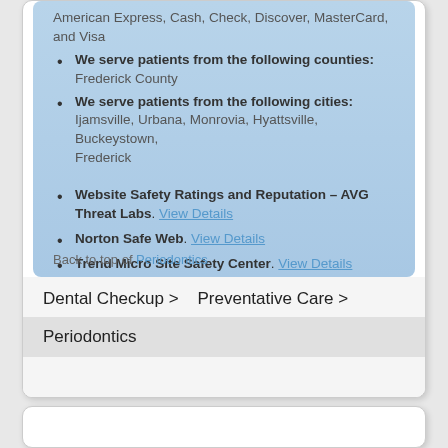American Express, Cash, Check, Discover, MasterCard, and Visa
We serve patients from the following counties: Frederick County
We serve patients from the following cities: Ijamsville, Urbana, Monrovia, Hyattsville, Buckeystown, Frederick
Website Safety Ratings and Reputation – AVG Threat Labs. View Details
Norton Safe Web. View Details
Trend Micro Site Safety Center. View Details
Back to top of Periodontics
Dental Checkup > Preventative Care > Periodontics